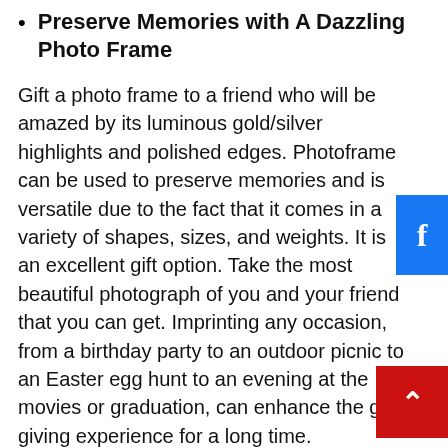Preserve Memories with A Dazzling Photo Frame
Gift a photo frame to a friend who will be amazed by its luminous gold/silver highlights and polished edges. Photoframe can be used to preserve memories and is versatile due to the fact that it comes in a variety of shapes, sizes, and weights. It is an excellent gift option. Take the most beautiful photograph of you and your friend that you can get. Imprinting any occasion, from a birthday party to an outdoor picnic to an Easter egg hunt to an evening at the movies or graduation, can enhance the gift-giving experience for a long time.
The Most Spectacular Bouquet